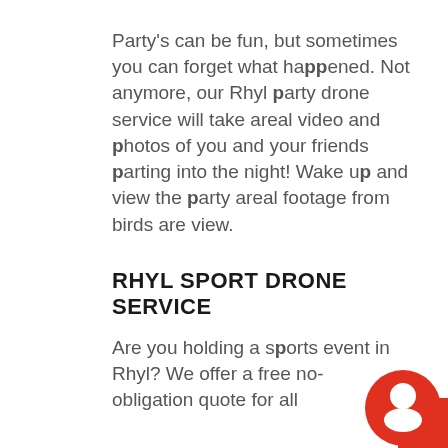Party's can be fun, but sometimes you can forget what happened. Not anymore, our Rhyl party drone service will take areal video and photos of you and your friends parting into the night! Wake up and view the party areal footage from birds are view.
RHYL SPORT DRONE SERVICE
Are you holding a sports event in Rhyl? We offer a free no-obligation quote for all
[Figure (illustration): Red circular chat widget icon with white speech bubble in bottom-right corner]